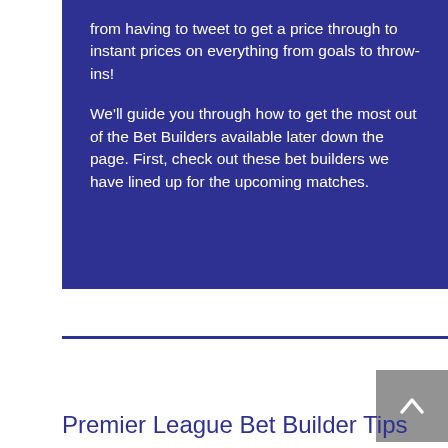from having to tweet to get a price through to instant prices on everything from goals to throw-ins!

We'll guide you through how to get the most out of the Bet Builders available later down the page. First, check out these bet builders we have lined up for the upcoming matches.
Premier League Bet Builder Tips